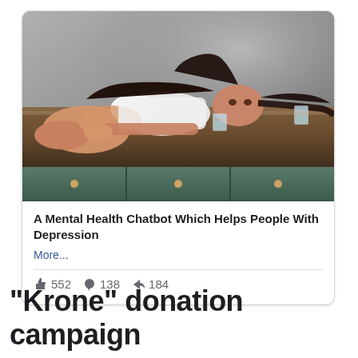[Figure (photo): A woman in a white top lying on a wooden table with two glasses of water, styled photo suggesting depression or sadness, used as article thumbnail]
A Mental Health Chatbot Which Helps People With Depression
More...
552  138  184
“Krone” donation campaign